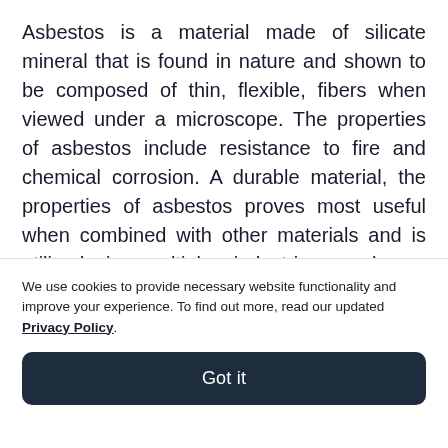Asbestos is a material made of silicate mineral that is found in nature and shown to be composed of thin, flexible, fibers when viewed under a microscope. The properties of asbestos include resistance to fire and chemical corrosion. A durable material, the properties of asbestos proves most useful when combined with other materials and is utilized in multiple industries such as construction, manufacturing, automotive, and cosmetics.
A Brief History
We use cookies to provide necessary website functionality and improve your experience. To find out more, read our updated Privacy Policy.